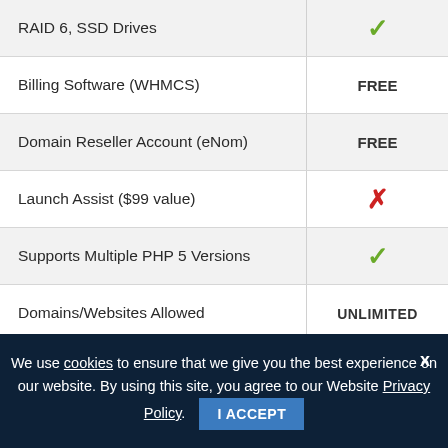| Feature | Value |
| --- | --- |
| RAID 6, SSD Drives | ✓ |
| Billing Software (WHMCS) | FREE |
| Domain Reseller Account (eNom) | FREE |
| Launch Assist ($99 value) | ✗ |
| Supports Multiple PHP 5 Versions | ✓ |
| Domains/Websites Allowed | UNLIMITED |
| Dedicated IP Addresses | FREE |
| Additional IP Addresses | ✓ |
We use cookies to ensure that we give you the best experience on our website. By using this site, you agree to our Website Privacy Policy. I ACCEPT